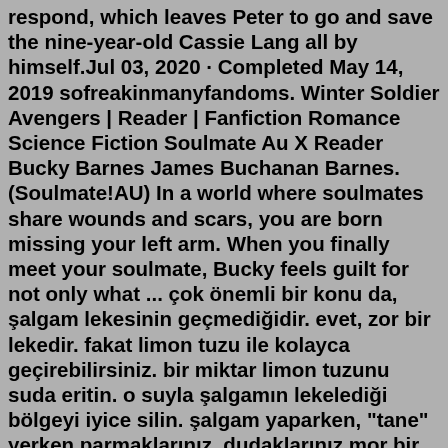respond, which leaves Peter to go and save the nine-year-old Cassie Lang all by himself.Jul 03, 2020 · Completed May 14, 2019 sofreakinmanyfandoms. Winter Soldier Avengers | Reader | Fanfiction Romance Science Fiction Soulmate Au X Reader Bucky Barnes James Buchanan Barnes. (Soulmate!AU) In a world where soulmates share wounds and scars, you are born missing your left arm. When you finally meet your soulmate, Bucky feels guilt for not only what ... çok önemli bir konu da, şalgam lekesinin geçmediğidir. evet, zor bir lekedir. fakat limon tuzu ile kolayca geçirebilirsiniz. bir miktar limon tuzunu suda eritin. o suyla şalgamın lekelediği bölgeyi iyice silin. şalgam yaparken, "tane" yerken parmaklarınız, dudaklarınız mor bir renk alır. bu mor rengi az önce bahsettiğim limon ...The Avengers are are on a mission to deal with an alien and Tony is attacked. The Avengers discover that when they touch Tony, they see his memories which reveal secrets that shatter their knowledge of him. Some specific memories that I remember are that he